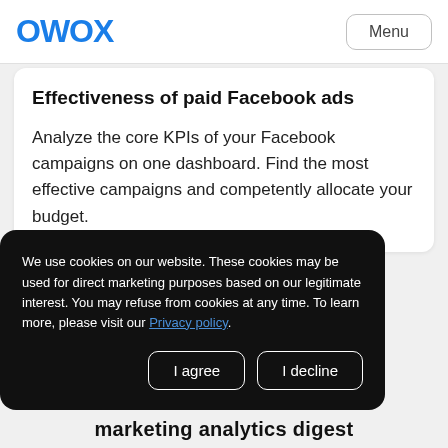OWOX
Effectiveness of paid Facebook ads
Analyze the core KPIs of your Facebook campaigns on one dashboard. Find the most effective campaigns and competently allocate your budget.
We use cookies on our website. These cookies may be used for direct marketing purposes based on our legitimate interest. You may refuse from cookies at any time. To learn more, please visit our Privacy policy.
marketing analytics digest